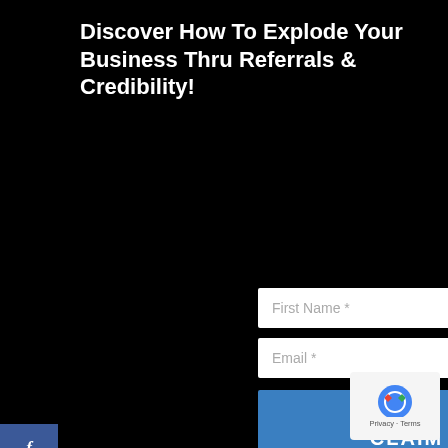Discover How To Explode Your Business Thru Referrals & Credibility!
[Figure (infographic): Social sharing sidebar with Facebook, Twitter, LinkedIn, Messenger, and Email buttons, plus a collapse arrow]
[Figure (screenshot): Web form with First Name and Email input fields and a blue CLAIM YOUR GIFTS button]
[Figure (other): Google reCAPTCHA badge with Privacy and Terms links]